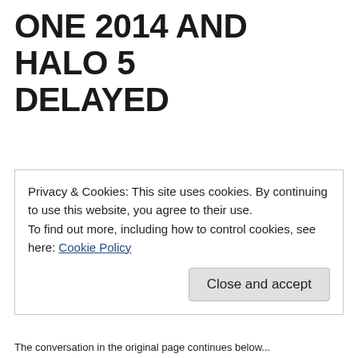ONE 2014 AND HALO 5 DELAYED
Privacy & Cookies: This site uses cookies. By continuing to use this website, you agree to their use.
To find out more, including how to control cookies, see here: Cookie Policy
Close and accept
The conversation in the original page continues below...